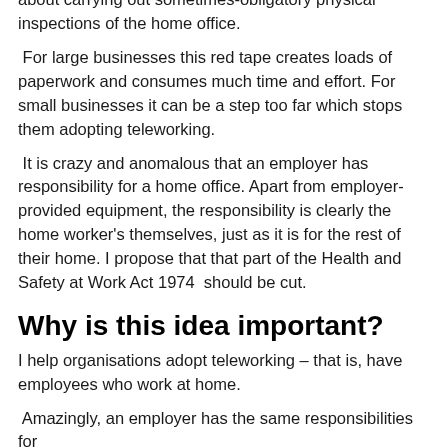about carrying out sometimes-obligatory physical inspections of the home office.
For large businesses this red tape creates loads of paperwork and consumes much time and effort. For small businesses it can be a step too far which stops them adopting teleworking.
It is crazy and anomalous that an employer has responsibility for a home office. Apart from employer-provided equipment, the responsibility is clearly the home worker's themselves, just as it is for the rest of their home. I propose that that part of the Health and Safety at Work Act 1974  should be cut.
Why is this idea important?
I help organisations adopt teleworking – that is, have employees who work at home.
Amazingly, an employer has the same responsibilities for